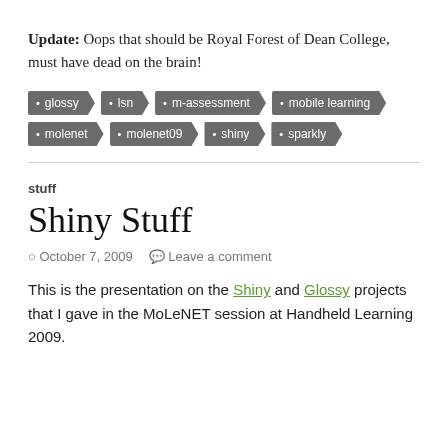Update: Oops that should be Royal Forest of Dean College, must have dead on the brain!
glossy
lsn
m-assessment
mobile learning
molenet
molenet09
shiny
sparkly
stuff
Shiny Stuff
October 7, 2009   Leave a comment
This is the presentation on the Shiny and Glossy projects that I gave in the MoLeNET session at Handheld Learning 2009.